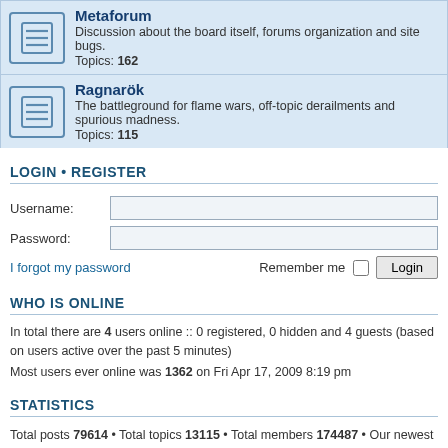Metaforum – Discussion about the board itself, forums organization and site bugs. Topics: 162
Ragnarök – The battleground for flame wars, off-topic derailments and spurious madness. Topics: 115
LOGIN • REGISTER
Username:
Password:
I forgot my password
Remember me  Login
WHO IS ONLINE
In total there are 4 users online :: 0 registered, 0 hidden and 4 guests (based on users active over the past 5 minutes)
Most users ever online was 1362 on Fri Apr 17, 2009 8:19 pm
STATISTICS
Total posts 79614 • Total topics 13115 • Total members 174487 • Our newest member sanzida
Board index  Contact us  Delete cookies  All times are UTC
Powered by phpBB® Forum Software © phpBB Limited
Privacy | Terms